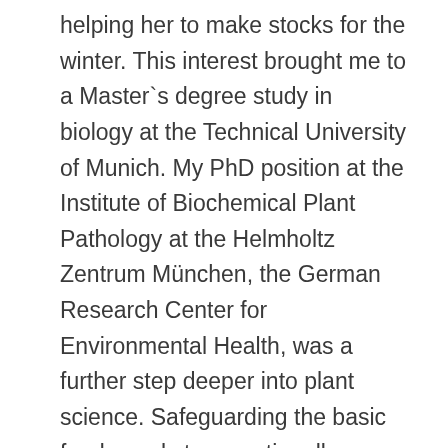helping her to make stocks for the winter. This interest brought me to a Master`s degree study in biology at the Technical University of Munich. My PhD position at the Institute of Biochemical Plant Pathology at the Helmholtz Zentrum München, the German Research Center for Environmental Health, was a further step deeper into plant science. Safeguarding the basic food supply to a continually growing world population is one of the future's greatest challenges for the western industrial countries. Research in plant resistance was an opportunity for me to contribute to achieving this goal and work for a good cause. The phenomena of systemic acquired resistance, which the Vlot lab studies, has inspired me right from the beginning. Permanently switching on this particular type of plant defence mechanism